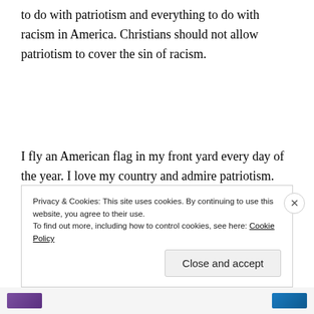to do with patriotism and everything to do with racism in America. Christians should not allow patriotism to cover the sin of racism.
I fly an American flag in my front yard every day of the year. I love my country and admire patriotism. However, the National Anthem is not a hymn. Patriotism is not forcing people to stand and salute the flag. Patriotism is
Privacy & Cookies: This site uses cookies. By continuing to use this website, you agree to their use.
To find out more, including how to control cookies, see here: Cookie Policy